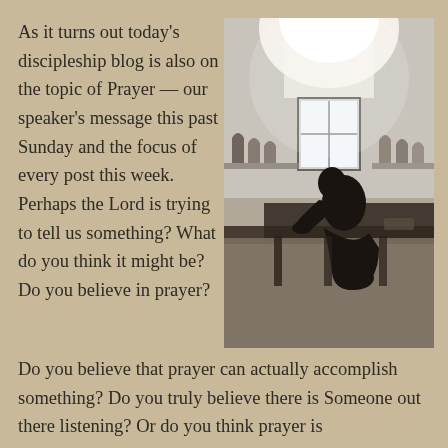As it turns out today's discipleship blog is also on the topic of Prayer — our speaker's message this past Sunday and the focus of every post this week. Perhaps the Lord is trying to tell us something? What do you think it might be? Do you believe in prayer?
[Figure (photo): A silhouette of a person kneeling in prayer at a church pew, with light streaming through a window in the background. Church decorations visible on a shelf.]
Do you believe that prayer can actually accomplish something? Do you truly believe there is Someone out there listening? Or do you think prayer is